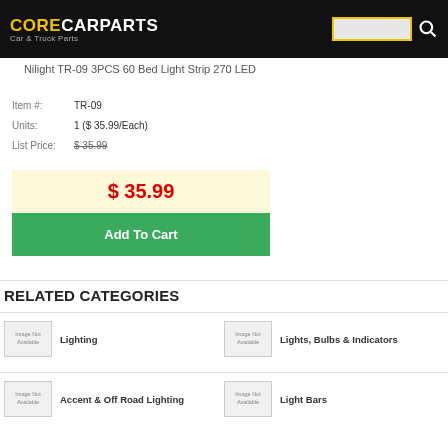CORECARPARTS Car & Truck Parts
Nilight TR-09 3PCS 60 Bed Light Strip 270 LED
Item #: TR-09
Units: 1 ($ 35.99/Each)
List Price: $ 35.99
$ 35.99
Add To Cart
RELATED CATEGORIES
Lighting
Lights, Bulbs & Indicators
Accent & Off Road Lighting
Light Bars